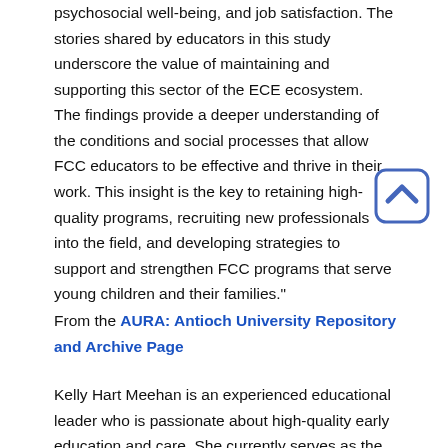psychosocial well-being, and job satisfaction. The stories shared by educators in this study underscore the value of maintaining and supporting this sector of the ECE ecosystem. The findings provide a deeper understanding of the conditions and social processes that allow FCC educators to be effective and thrive in their work. This insight is the key to retaining high-quality programs, recruiting new professionals into the field, and developing strategies to support and strengthen FCC programs that serve young children and their families."
From the AURA: Antioch University Repository and Archive Page
Kelly Hart Meehan is an experienced educational leader who is passionate about high-quality early education and care. She currently serves as the